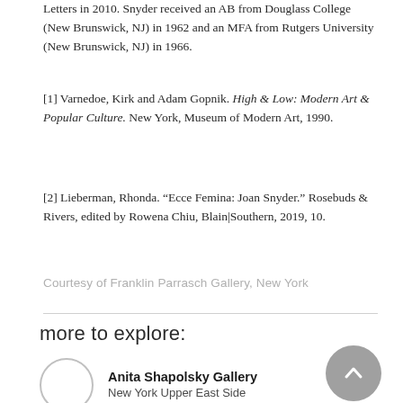Letters in 2010. Snyder received an AB from Douglass College (New Brunswick, NJ) in 1962 and an MFA from Rutgers University (New Brunswick, NJ) in 1966.
[1] Varnedoe, Kirk and Adam Gopnik. High & Low: Modern Art & Popular Culture. New York, Museum of Modern Art, 1990.
[2] Lieberman, Rhonda. “Ecce Femina: Joan Snyder.” Rosebuds & Rivers, edited by Rowena Chiu, Blain|Southern, 2019, 10.
Courtesy of Franklin Parrasch Gallery, New York
more to explore:
Anita Shapolsky Gallery
New York Upper East Side